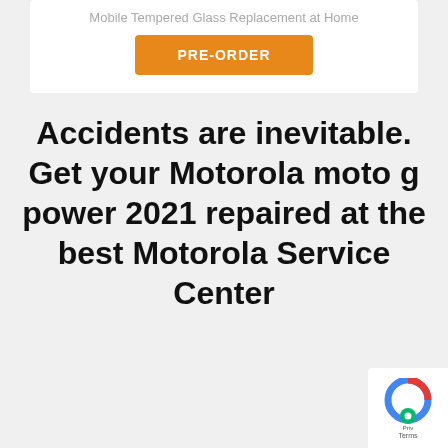Mobile Tempered Glass Replacement at Home
PRE-ORDER
Accidents are inevitable. Get your Motorola moto g power 2021 repaired at the best Motorola Service Center